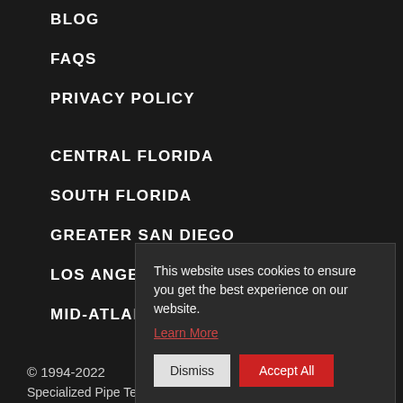BLOG
FAQS
PRIVACY POLICY
CENTRAL FLORIDA
SOUTH FLORIDA
GREATER SAN DIEGO
LOS ANGELES
MID-ATLANTIC
This website uses cookies to ensure you get the best experience on our website.
Learn More
© 1994-2022
Specialized Pipe Technologies. Powered by Trenchless